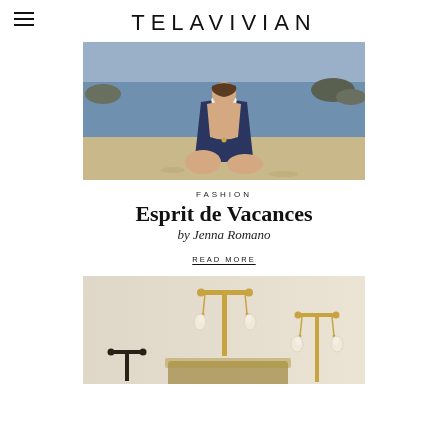TELAVIVIAN
[Figure (photo): Woman in navy blue one-piece swimsuit sitting on sandy beach with back facing camera, ocean and rocks in background]
FASHION
Esprit de Vacances
by Jenna Romano
READ MORE
[Figure (photo): Gold jewelry display stands (T-bar stands) with pearl drop earrings on a beige/cream background, partial view cropped at bottom]